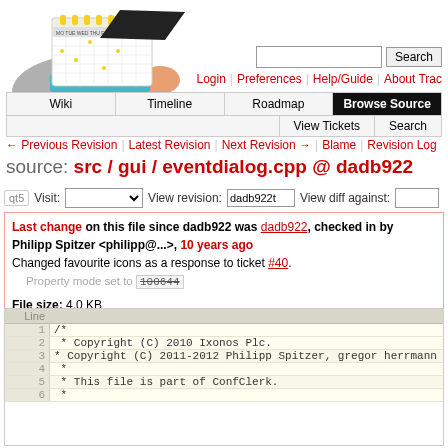[Figure (illustration): Trac project logo: a turtle carrying a calendar/planner on its shell, with a black graduation cap]
Login | Preferences | Help/Guide | About Trac
Wiki | Timeline | Roadmap | Browse Source | View Tickets | Search
← Previous Revision | Latest Revision | Next Revision → | Blame | Revision Log
source: src / gui / eventdialog.cpp @ dadb922
qt5   Visit: [dropdown]   View revision: dadb922t   View diff against: [input]
Last change on this file since dadb922 was dadb922, checked in by Philipp Spitzer <philipp@...>, 10 years ago
Changed favourite icons as a response to ticket #40.
Property mode set to 100644
File size: 4.0 KB
| Line |  |
| --- | --- |
| 1 | /* |
| 2 |  * Copyright (C) 2010 Ixonos Plc. |
| 3 |  * Copyright (C) 2011-2012 Philipp Spitzer, gregor
herrmann |
| 4 |  * |
| 5 |  * This file is part of ConfClerk. |
| 6 |  * |